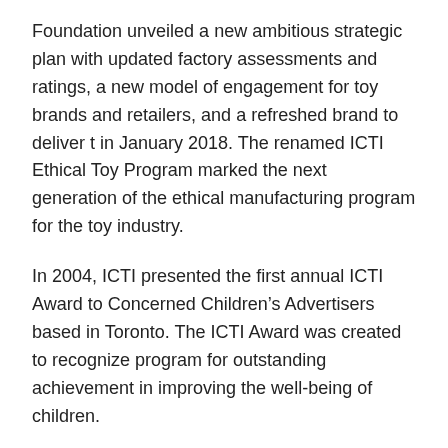Foundation unveiled a new ambitious strategic plan with updated factory assessments and ratings, a new model of engagement for toy brands and retailers, and a refreshed brand to deliver t in January 2018. The renamed ICTI Ethical Toy Program marked the next generation of the ethical manufacturing program for the toy industry.
In 2004, ICTI presented the first annual ICTI Award to Concerned Children's Advertisers based in Toronto. The ICTI Award was created to recognize program for outstanding achievement in improving the well-being of children.
ICTI's first code of conduct read as follows:
“The International Council of Toy Industries (ICTI) and its member associations are committed to the promotion of